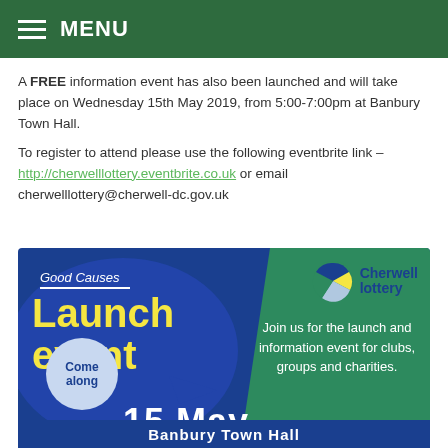MENU
A FREE information event has also been launched and will take place on Wednesday 15th May 2019, from 5:00-7:00pm at Banbury Town Hall.
To register to attend please use the following eventbrite link – http://cherwelllottery.eventbrite.co.uk or email cherwelllottery@cherwell-dc.gov.uk
[Figure (infographic): Cherwell Lottery Good Causes Launch Event promotional poster with blue and green design. Text reads: Good Causes Launch event, Come along, Join us for the launch and information event for clubs, groups and charities. 15 May, Banbury Town Hall. Cherwell lottery logo in top right.]